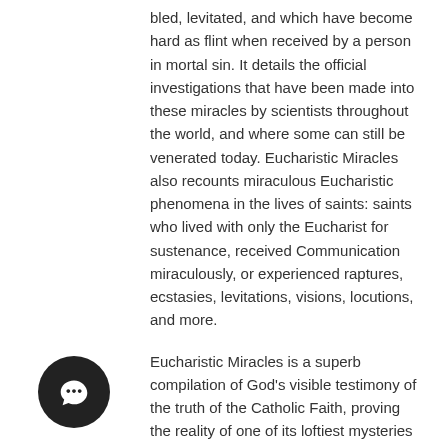bled, levitated, and which have become hard as flint when received by a person in mortal sin. It details the official investigations that have been made into these miracles by scientists throughout the world, and where some can still be venerated today. Eucharistic Miracles also recounts miraculous Eucharistic phenomena in the lives of saints: saints who lived with only the Eucharist for sustenance, received Communication miraculously, or experienced raptures, ecstasies, levitations, visions, locutions, and more.
Eucharistic Miracles is a superb compilation of God's visible testimony of the truth of the Catholic Faith, proving the reality of one of its loftiest mysteries — the Real Presence of Jesus Christ in the Holy Eucharist.
Genres:
Health & Wellness > Naturopathy & New Age
Religion & Spirituality > Christianity